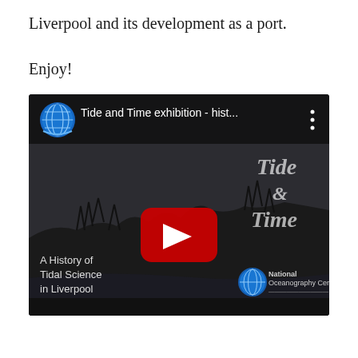Liverpool and its development as a port.
Enjoy!
[Figure (screenshot): YouTube video thumbnail showing 'Tide and Time exhibition - hist...' with a globe icon, play button, text reading 'Tide & Time' in italic white, and subtitle 'A History of Tidal Science in Liverpool' with National Oceanography Centre logo]